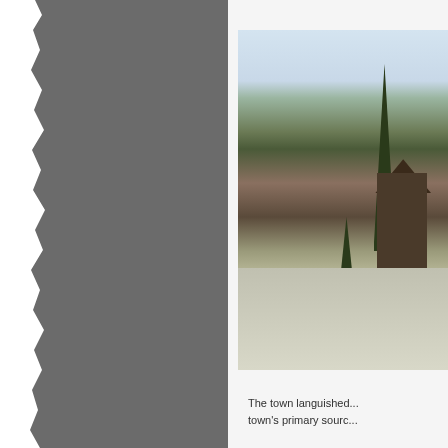[Figure (photo): Torn grey paper or cardboard on the left side of the page, with a ragged torn edge on the right side of the grey panel.]
[Figure (photo): Outdoor winter landscape photo showing bare deciduous trees, a tall evergreen/pine tree, a dark barn or farm building, mountains in the background with hazy sky, and a frosted or snow-dusted ground.]
The town languished... town's primary sourc...